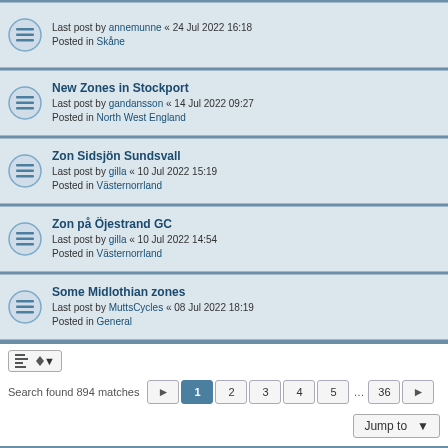New Zones in Stockport
Last post by gandansson « 14 Jul 2022 09:27
Posted in North West England
Zon Sidsjön Sundsvall
Last post by gilla « 10 Jul 2022 15:19
Posted in Västernorrland
Zon på Öjestrand GC
Last post by gilla « 10 Jul 2022 14:54
Posted in Västernorrland
Some Midlothian zones
Last post by MuttsCycles « 08 Jul 2022 18:19
Posted in General
Search found 894 matches
Turf Forum • Board index | All times are UTC+02:00
Powered by phpBB® Forum Software © phpBB Limited
Privacy | Terms